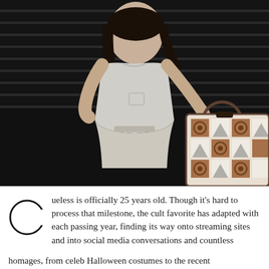[Figure (photo): A woman with short dark hair and sunglasses wearing a light gray sleeveless top and light gray pants, sitting on dark stairs, holding a patterned brown and white designer tote bag. Dark background with horizontal stair treads visible.]
Cueless is officially 25 years old. Though it's hard to process that milestone, the cult favorite has adapted with each passing year, finding its way onto streaming sites and into social media conversations and countless homages, from celeb Halloween costumes to the recent